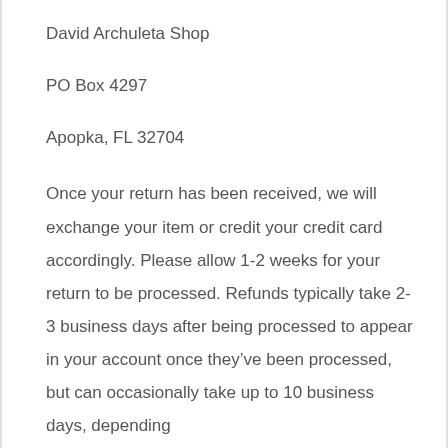David Archuleta Shop
PO Box 4297
Apopka, FL 32704
Once your return has been received, we will exchange your item or credit your credit card accordingly. Please allow 1-2 weeks for your return to be processed. Refunds typically take 2-3 business days after being processed to appear in your account once they’ve been processed, but can occasionally take up to 10 business days, depending